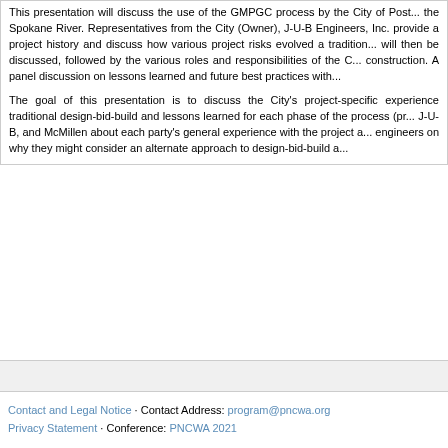This presentation will discuss the use of the GMPGC process by the City of Post... the Spokane River. Representatives from the City (Owner), J-U-B Engineers, Inc. provide a project history and discuss how various project risks evolved a tradition... will then be discussed, followed by the various roles and responsibilities of the C... construction. A panel discussion on lessons learned and future best practices with...
The goal of this presentation is to discuss the City's project-specific experience traditional design-bid-build and lessons learned for each phase of the process (pr... J-U-B, and McMillen about each party's general experience with the project a... engineers on why they might consider an alternate approach to design-bid-build a...
Contact and Legal Notice · Contact Address: program@pncwa.org Privacy Statement · Conference: PNCWA 2021